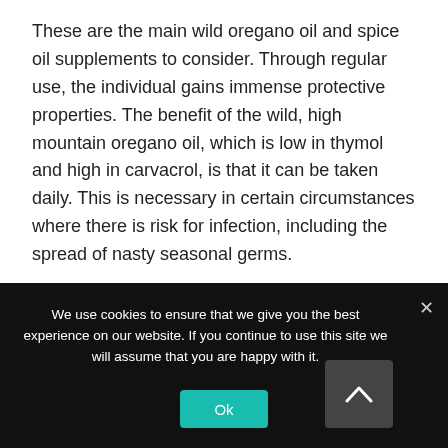These are the main wild oregano oil and spice oil supplements to consider. Through regular use, the individual gains immense protective properties. The benefit of the wild, high mountain oregano oil, which is low in thymol and high in carvacrol, is that it can be taken daily. This is necessary in certain circumstances where there is risk for infection, including the spread of nasty seasonal germs.

Because it is a decongestant it is ideal for all seasonal
We use cookies to ensure that we give you the best experience on our website. If you continue to use this site we will assume that you are happy with it.